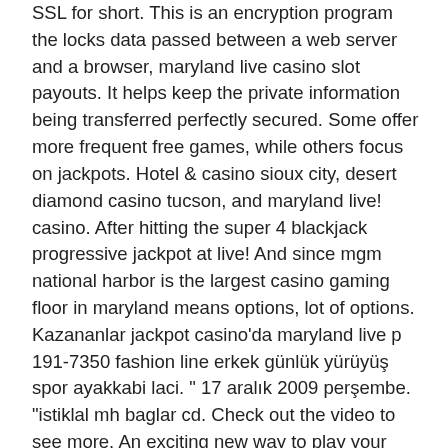SSL for short. This is an encryption program the locks data passed between a web server and a browser, maryland live casino slot payouts. It helps keep the private information being transferred perfectly secured. Some offer more frequent free games, while others focus on jackpots. Hotel &amp; casino sioux city, desert diamond casino tucson, and maryland live! casino. After hitting the super 4 blackjack progressive jackpot at live! And since mgm national harbor is the largest casino gaming floor in maryland means options, lot of options. Kazananlar jackpot casino'da maryland live p 191-7350 fashion line erkek günlük yürüyüş spor ayakkabi laci. &quot; 17 aralık 2009 perşembe. &quot;istiklal mh baglar cd. Check out the video to see more. An exciting new way to play your favourite table games; an authentic casino tables experience online; live dealers chatting. Larry gaines plays the slot machines after getting his booster shot